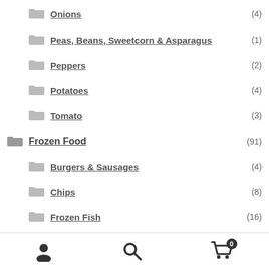Onions (4)
Peas, Beans, Sweetcorn & Asparagus (1)
Peppers (2)
Potatoes (4)
Tomato (3)
Frozen Food (91)
Burgers & Sausages (4)
Chips (8)
Frozen Fish (16)
Frozen Vegetables (3)
Garlic Bread (2)
Ice Cream (25)
Account | Search | Cart (0)